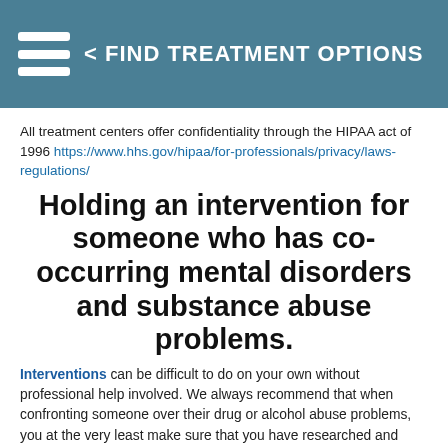< FIND TREATMENT OPTIONS
All treatment centers offer confidentiality through the HIPAA act of 1996 https://www.hhs.gov/hipaa/for-professionals/privacy/laws-regulations/
Holding an intervention for someone who has co-occurring mental disorders and substance abuse problems.
Interventions can be difficult to do on your own without professional help involved. We always recommend that when confronting someone over their drug or alcohol abuse problems, you at the very least make sure that you have researched and practiced what you have learned in a mock intervention before holding the actual intervention for the person. Be do you have only one chance to get an intervention done correctly and only one time to hold a surprise intervention. Make the most of the